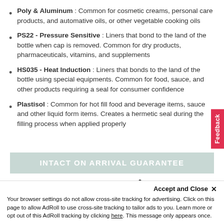Poly & Aluminum : Common for cosmetic creams, personal care products, and automative oils, or other vegetable cooking oils
PS22 - Pressure Sensitive : Liners that bond to the land of the bottle when cap is removed. Common for dry products, pharmaceuticals, vitamins, and supplements
HS035 - Heat Induction : Liners that bonds to the land of the bottle using special equipments. Common for food, sauce, and other products requiring a seal for consumer confidence
Plastisol : Common for hot fill food and beverage items, sauce and other liquid form items. Creates a hermetic seal during the filling process when applied properly
INTACT ON ARRIVAL GUARANTEE
We guarantee your bottles will arrive intact
Accept and Close ×
Your browser settings do not allow cross-site tracking for advertising. Click on this page to allow AdRoll to use cross-site tracking to tailor ads to you. Learn more or opt out of this AdRoll tracking by clicking here. This message only appears once.